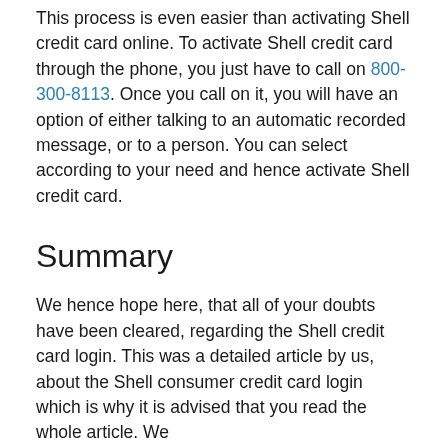This process is even easier than activating Shell credit card online. To activate Shell credit card through the phone, you just have to call on 800-300-8113. Once you call on it, you will have an option of either talking to an automatic recorded message, or to a person. You can select according to your need and hence activate Shell credit card.
Summary
We hence hope here, that all of your doubts have been cleared, regarding the Shell credit card login. This was a detailed article by us, about the Shell consumer credit card login which is why it is advised that you read the whole article. We